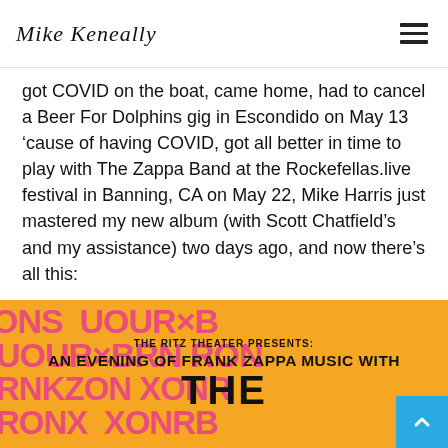Mike Keneally
got COVID on the boat, came home, had to cancel a Beer For Dolphins gig in Escondido on May 13 ‘cause of having COVID, got all better in time to play with The Zappa Band at the Rockefellas.live festival in Banning, CA on May 22, Mike Harris just mastered my new album (with Scott Chatfield’s and my assistance) two days ago, and now there’s all this:
On June 3, The Zappa Band returns to the Whisky-A-Go-Go in remarkable Hollywood, CA. Can’t you hear the crashing, blasting strum already? Tickets to this event can be found here.
[Figure (illustration): Event banner with orange/yellow background and decorative pink psychedelic lettering. Text reads: THE RITZ THEATER PRESENTS: AN EVENING OF FRANK ZAPPA MUSIC WITH THE (partially visible)]